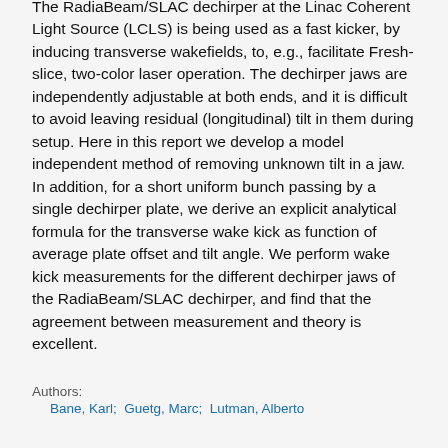The RadiaBeam/SLAC dechirper at the Linac Coherent Light Source (LCLS) is being used as a fast kicker, by inducing transverse wakefields, to, e.g., facilitate Fresh-slice, two-color laser operation. The dechirper jaws are independently adjustable at both ends, and it is difficult to avoid leaving residual (longitudinal) tilt in them during setup. Here in this report we develop a model independent method of removing unknown tilt in a jaw. In addition, for a short uniform bunch passing by a single dechirper plate, we derive an explicit analytical formula for the transverse wake kick as function of average plate offset and tilt angle. We perform wake kick measurements for the different dechirper jaws of the RadiaBeam/SLAC dechirper, and find that the agreement between measurement and theory is excellent.
Authors:
Bane, Karl;  Guetg, Marc;  Lutman, Alberto